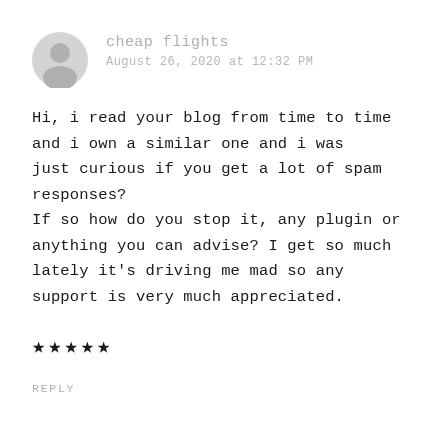cheap flights
August 26, 2020 at 12:32 PM
Hi, i read your blog from time to time and i own a similar one and i was just curious if you get a lot of spam responses? If so how do you stop it, any plugin or anything you can advise? I get so much lately it's driving me mad so any support is very much appreciated.
★★★★★
REPLY